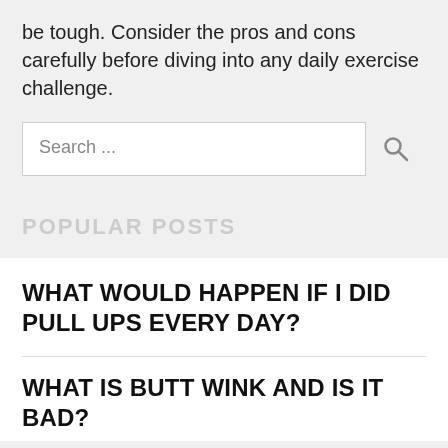be tough. Consider the pros and cons carefully before diving into any daily exercise challenge.
Search ...
POPULAR POSTS
WHAT WOULD HAPPEN IF I DID PULL UPS EVERY DAY?
WHAT IS BUTT WINK AND IS IT BAD?